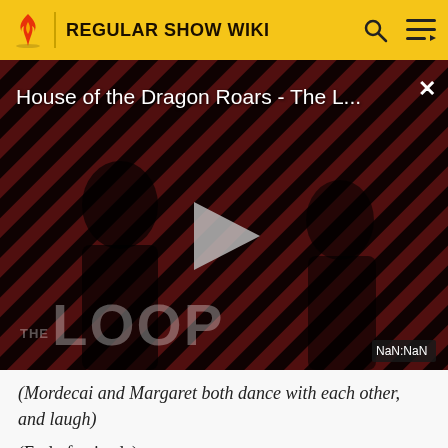REGULAR SHOW WIKI
[Figure (screenshot): Video player showing 'House of the Dragon Roars - The L...' with a play button overlay, silhouettes of two people, 'THE LOOP' text watermark, and NaN:NaN time display. Diagonal red and black stripes in background.]
(Mordecai and Margaret both dance with each other, and laugh)
(End of episode)